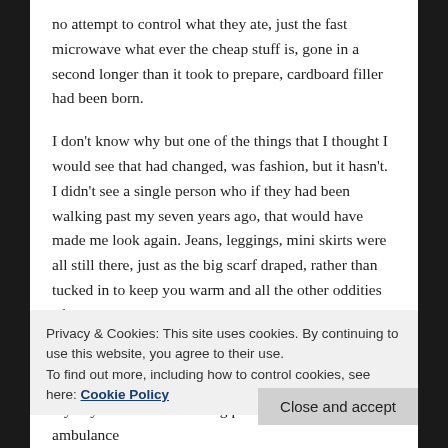no attempt to control what they ate, just the fast microwave what ever the cheap stuff is, gone in a second longer than it took to prepare, cardboard filler had been born.
I don't know why but one of the things that I thought I would see that had changed, was fashion, but it hasn't. I didn't see a single person who if they had been walking past my seven years ago, that would have made me look again. Jeans, leggings, mini skirts were all still there, just as the big scarf draped, rather than tucked in to keep you warm and all the other oddities of style, have remained the same. I know I wasn't in a club or any of the places fashion are most visible, but ordinary was the name of the
Privacy & Cookies: This site uses cookies. By continuing to use this website, you agree to their use.
To find out more, including how to control cookies, see here: Cookie Policy
Close and accept
my day as when I was being pushed out to the ambulance